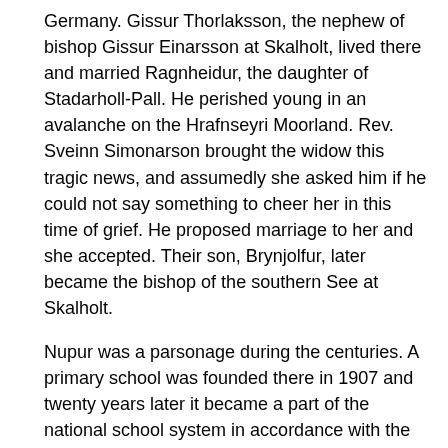Germany. Gissur Thorlaksson, the nephew of bishop Gissur Einarsson at Skalholt, lived there and married Ragnheidur, the daughter of Stadarholl-Pall. He perished young in an avalanche on the Hrafnseyri Moorland. Rev. Sveinn Simonarson brought the widow this tragic news, and assumedly she asked him if he could not say something to cheer her in this time of grief. He proposed marriage to her and she accepted. Their son, Brynjolfur, later became the bishop of the southern See at Skalholt.
Nupur was a parsonage during the centuries. A primary school was founded there in 1907 and twenty years later it became a part of the national school system in accordance with the law passed in 1927 and was operated until 1992. The founder of the school, Rev. Sigtryggur Gudlaugsson, was a versatile man and he was responsible for the wooded groove Skrudur, where his and his wife’s monument is standing. The school buildings are used as a summer hotel.
Photo Credit: Kirkjukort.net